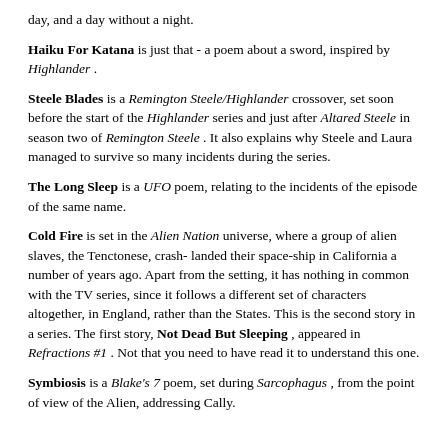day, and a day without a night.
Haiku For Katana is just that - a poem about a sword, inspired by Highlander .
Steele Blades is a Remington Steele/Highlander crossover, set soon before the start of the Highlander series and just after Altared Steele in season two of Remington Steele . It also explains why Steele and Laura managed to survive so many incidents during the series.
The Long Sleep is a UFO poem, relating to the incidents of the episode of the same name.
Cold Fire is set in the Alien Nation universe, where a group of alien slaves, the Tenctonese, crash- landed their space-ship in California a number of years ago. Apart from the setting, it has nothing in common with the TV series, since it follows a different set of characters altogether, in England, rather than the States. This is the second story in a series. The first story, Not Dead But Sleeping , appeared in Refractions #1 . Not that you need to have read it to understand this one.
Symbiosis is a Blake's 7 poem, set during Sarcophagus , from the point of view of the Alien, addressing Cally.